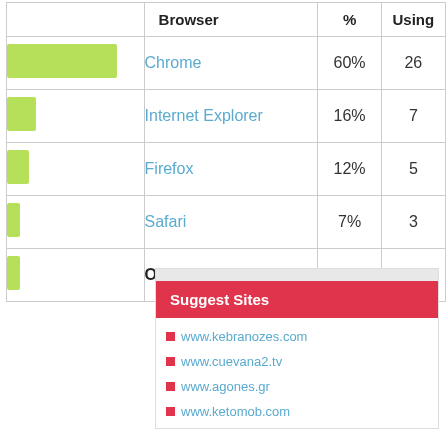|  | Browser | % | Using |
| --- | --- | --- | --- |
| [bar 60%] | Chrome | 60% | 26 |
| [bar 16%] | Internet Explorer | 16% | 7 |
| [bar 12%] | Firefox | 12% | 5 |
| [bar 7%] | Safari | 7% | 3 |
| [bar 7%] | Opera | 7% | 3 |
Suggest Sites
www.kebranozes.com
www.cuevana2.tv
www.agones.gr
www.ketomob.com